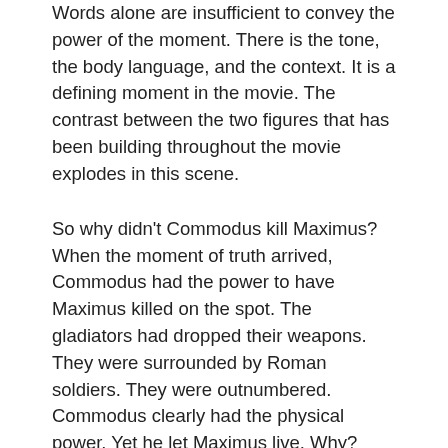Words alone are insufficient to convey the power of the moment. There is the tone, the body language, and the context. It is a defining moment in the movie. The contrast between the two figures that has been building throughout the movie explodes in this scene.
So why didn't Commodus kill Maximus? When the moment of truth arrived, Commodus had the power to have Maximus killed on the spot. The gladiators had dropped their weapons. They were surrounded by Roman soldiers. They were outnumbered. Commodus clearly had the physical power. Yet he let Maximus live. Why?
Commodus could not have Maximus killed because he felt who had the real power. Commodus knew that Maximus was the real warrior that he was not. Commodus knew that his own soldiers knew